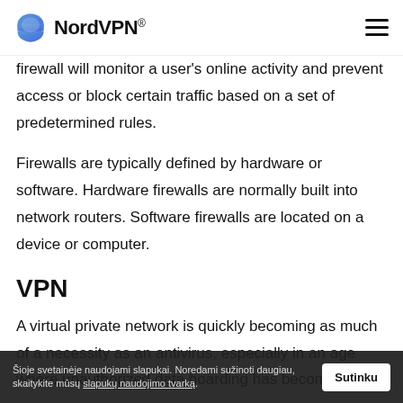NordVPN®
firewall will monitor a user's online activity and prevent access or block certain traffic based on a set of predetermined rules.
Firewalls are typically defined by hardware or software. Hardware firewalls are normally built into network routers. Software firewalls are located on a device or computer.
VPN
A virtual private network is quickly becoming as much of a necessity as an antivirus, especially in an age where unauthorized data hoarding has become
Šioje svetainėje naudojami slapukai. Noredami sužinoti daugiau, skaitykite mūsų slapukų naudojimo tvarką.